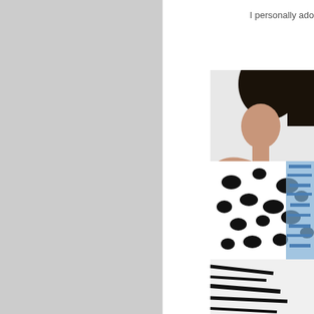I personally ado
[Figure (photo): Left side: large grey/light grey rectangular photo placeholder area occupying left column of the page]
[Figure (photo): Right side: partial photo of a woman wearing a black and white animal print / mixed pattern top (dalmatian spots and zebra stripes), with dark hair, against a light grey background]